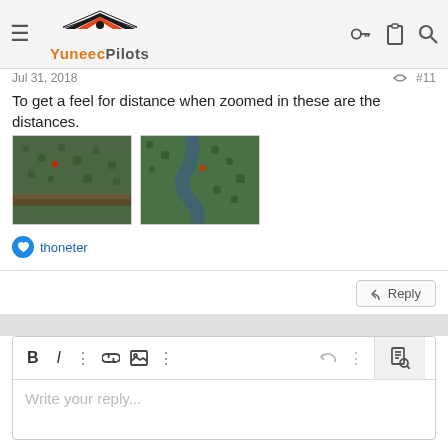YuneecPilots
Jul 31, 2018  #11
To get a feel for distance when zoomed in these are the distances.
[Figure (photo): Two aerial thumbnail photos showing forested landscape from drone]
thoneter
Reply
Write your reply...